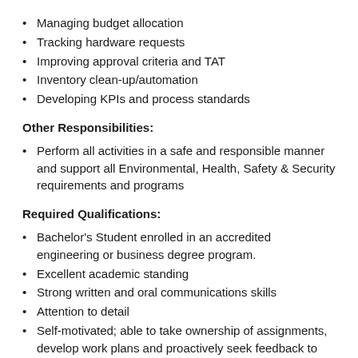Managing budget allocation
Tracking hardware requests
Improving approval criteria and TAT
Inventory clean-up/automation
Developing KPIs and process standards
Other Responsibilities:
Perform all activities in a safe and responsible manner and support all Environmental, Health, Safety & Security requirements and programs
Required Qualifications:
Bachelor's Student enrolled in an accredited engineering or business degree program.
Excellent academic standing
Strong written and oral communications skills
Attention to detail
Self-motivated; able to take ownership of assignments, develop work plans and proactively seek feedback to ensure objectives are aligned and met
Team player; able to succeed in a dynamic, fast paced environment